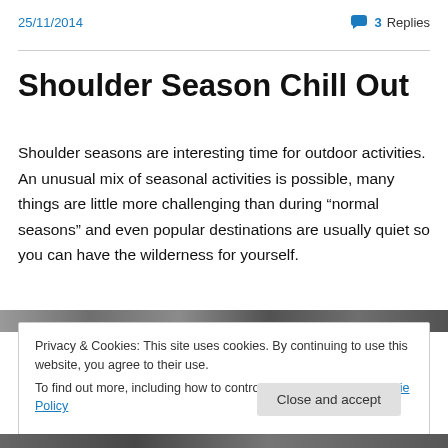25/11/2014 | 3 Replies
Shoulder Season Chill Out
Shoulder seasons are interesting time for outdoor activities. An unusual mix of seasonal activities is possible, many things are little more challenging than during “normal seasons” and even popular destinations are usually quiet so you can have the wilderness for yourself.
[Figure (photo): Landscape/outdoor photo strip partially visible]
Privacy & Cookies: This site uses cookies. By continuing to use this website, you agree to their use.
To find out more, including how to control cookies, see here: Cookie Policy
Close and accept
[Figure (photo): Landscape outdoor photo strip at bottom of page]